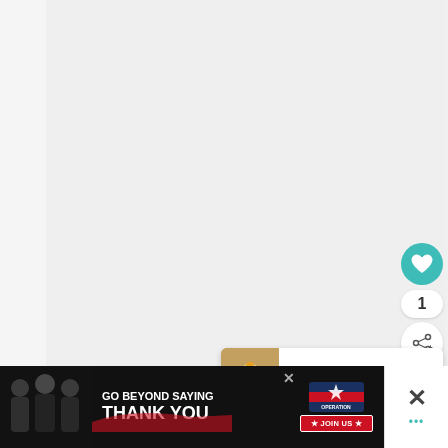[Figure (screenshot): Light gray empty content area taking up most of the page]
[Figure (infographic): Teal circular heart/like button with count of 1 and share button below]
1
[Figure (infographic): What's Next card with cupcake thumbnail image and text 'The Cupcake of All...']
WHAT'S NEXT → The Cupcake of All...
[Figure (photo): Advertisement banner: GO BEYOND SAYING THANK YOU - Operation Gratitude JOIN US with military personnel photo]
[Figure (screenshot): Right side close X and menu dots control icons]